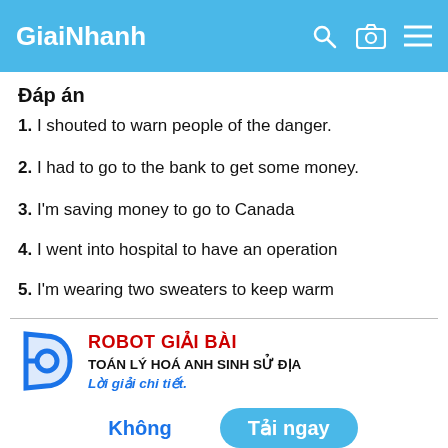GiaiNhanh
Đáp án
1. I shouted to warn people of the danger.
2. I had to go to the bank to get some money.
3. I'm saving money to go to Canada
4. I went into hospital to have an operation
5. I'm wearing two sweaters to keep warm
[Figure (logo): Robot Giải Bài advertisement with blue D-shaped logo, red text ROBOT GIẢI BÀI, bold black text TOÁN LÝ HOÁ ANH SINH SỬ ĐỊA, blue italic text Lời giải chi tiết.]
Không
Tải ngay